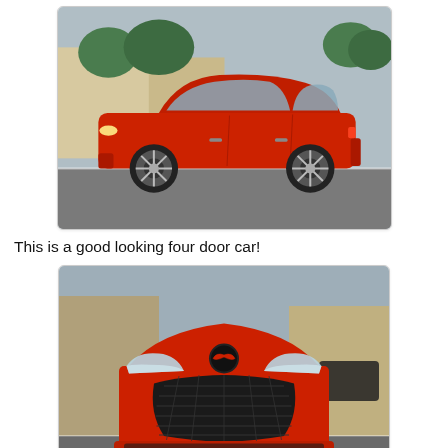[Figure (photo): Side profile photo of a red Mazda 3 four-door sedan parked in a lot, with trees and buildings in the background.]
This is a good looking four door car!
[Figure (photo): Front-facing photo of a red Mazda 3 showing the aggressive front grille with Mazda logo, headlights, and front bumper.]
The front is very aggressive and really screams that it is meant for speed! Mazda has a long racing tradition and takes their learning lessons and puts them into their street